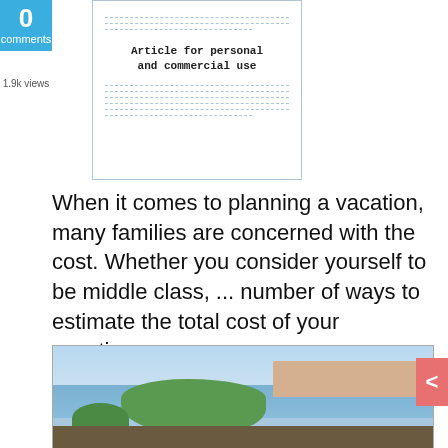0
comments
1.9k views
[Figure (illustration): Document preview thumbnail showing 'Article for personal and commercial use' label with dashed lines above and below]
When it comes to planning a vacation, many families are concerned with the cost. Whether you consider yourself to be middle class, ... number of ways to estimate the total cost of your vacation.
[Figure (photo): Aerial or elevated view of a coastal town with green island/trees in the foreground, water/harbor, and buildings visible in the background under a light blue sky]